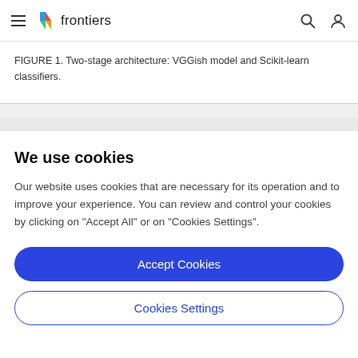frontiers
FIGURE 1. Two-stage architecture: VGGish model and Scikit-learn classifiers.
We use cookies
Our website uses cookies that are necessary for its operation and to improve your experience. You can review and control your cookies by clicking on "Accept All" or on "Cookies Settings".
Accept Cookies
Cookies Settings